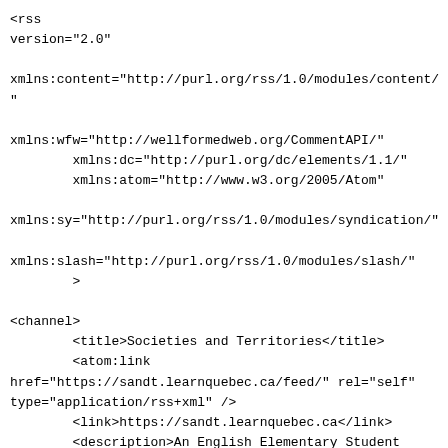<?xml version="1.0" encoding="UTF-8"?><rss version="2.0"

xmlns:content="http://purl.org/rss/1.0/modules/content/"
"

xmlns:wfw="http://wellformedweb.org/CommentAPI/"
        xmlns:dc="http://purl.org/dc/elements/1.1/"
        xmlns:atom="http://www.w3.org/2005/Atom"

xmlns:sy="http://purl.org/rss/1.0/modules/syndication/"

xmlns:slash="http://purl.org/rss/1.0/modules/slash/"
        >

<channel>
        <title>Societies and Territories</title>
        <atom:link
href="https://sandt.learnquebec.ca/feed/" rel="self"
type="application/rss+xml" />
        <link>https://sandt.learnquebec.ca</link>
        <description>An English Elementary Student
History Site</description>
        <lastBuildDate>Tue, 17 May 2022 16:16:34
+0000</lastBuildDate>
        <language>en-US</language>
        <sy:updatePeriod>
        hourly   </sy:updatePeriod>
        <sy:updateFrequency>